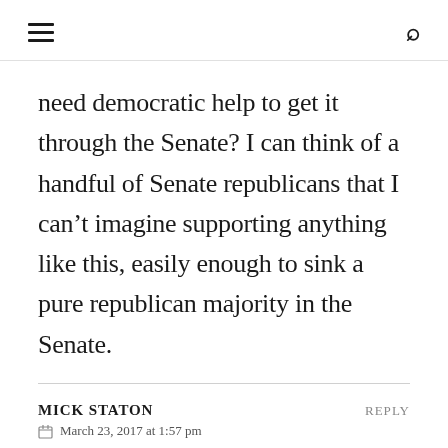≡   🔍
need democratic help to get it through the Senate? I can think of a handful of Senate republicans that I can't imagine supporting anything like this, easily enough to sink a pure republican majority in the Senate.
MICK STATON   REPLY
March 23, 2017 at 1:57 pm
I contacted Barbara Comstock's